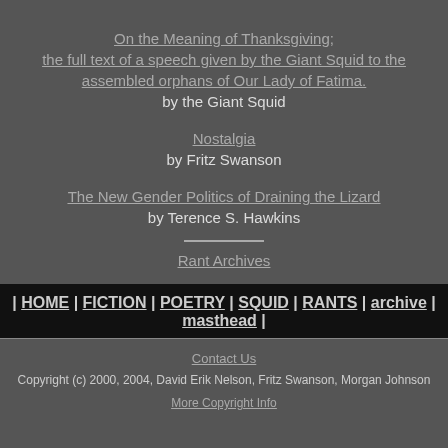On the Meaning of Thanksgiving; the full text of a speech given by the Giant Squid to the assembled orphans of Our Lady of Fatima.
by the Giant Squid
Nostalgia
by Fritz Swanson
The New Gender Politics of Draining the Lizard
by Terence S. Hawkins
Rant Archives
| HOME | FICTION | POETRY | SQUID | RANTS | archive | masthead |
Contact Us
Copyright (c) 2000, 2004, David Erik Nelson, Fritz Swanson, Morgan Johnson
More Copyright Info